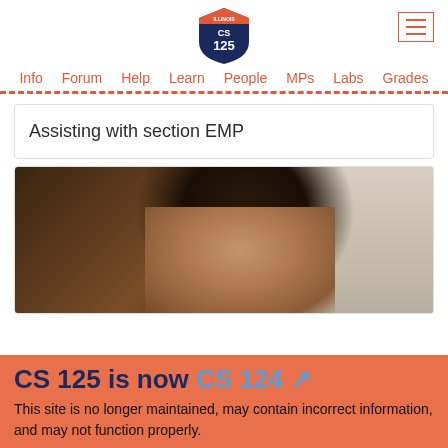CS 125 Illinois — navigation: Info, Forum, Help, Learn, People, MPs, Labs, Grades
Assisting with section EMP
[Figure (photo): Close-up photo of a young man with dark hair, partially cropped, against a light background with dark wooden furniture visible]
CS 125 is now CS 124 — This site is no longer maintained, may contain incorrect information, and may not function properly.